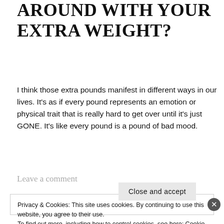AROUND WITH YOUR EXTRA WEIGHT?
I think those extra pounds manifest in different ways in our lives. It's as if every pound represents an emotion or physical trait that is really hard to get over until it's just GONE. It's like every pound is a pound of bad mood.
Leave a comment
Privacy & Cookies: This site uses cookies. By continuing to use this website, you agree to their use.
To find out more, including how to control cookies, see here: Cookie Policy